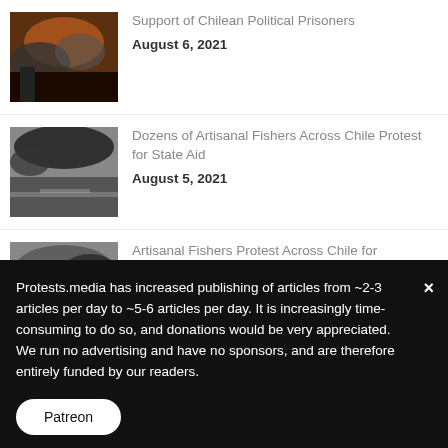[Figure (photo): Thumbnail image of fire/smoke scene related to Chilean political prisoners article]
Support of Chilean Political Prisoners
August 6, 2021
[Figure (photo): Thumbnail image of smoke and road scene related to artisanal fishers protest article]
Dozens of Artisanal Fishers Across Chile Protest for State Aid
August 5, 2021
[Figure (photo): Thumbnail image of protest crowd scene related to artisanal fishers government aid article]
Artisanal Fishers Protest Across Chile for Government Aid
August 2, 2021
Protests.media has increased publishing of articles from ~2-3 articles per day to ~5-6 articles per day. It is increasingly time-consuming to do so, and donations would be very appreciated. We run no advertising and have no sponsors, and are therefore entirely funded by our readers.
Patreon